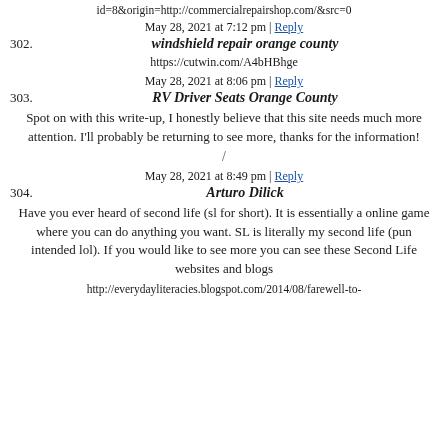id=8&origin=http://commercialrepairshop.com/&src=0
May 28, 2021 at 7:12 pm | Reply
302. windshield repair orange county
https://cutwin.com/A4bHBhge
May 28, 2021 at 8:06 pm | Reply
303. RV Driver Seats Orange County
Spot on with this write-up, I honestly believe that this site needs much more attention. I'll probably be returning to see more, thanks for the information!
/
May 28, 2021 at 8:49 pm | Reply
304. Arturo Dilick
Have you ever heard of second life (sl for short). It is essentially a online game where you can do anything you want. SL is literally my second life (pun intended lol). If you would like to see more you can see these Second Life websites and blogs
http://everydayliteracies.blogspot.com/2014/08/farewell-to-